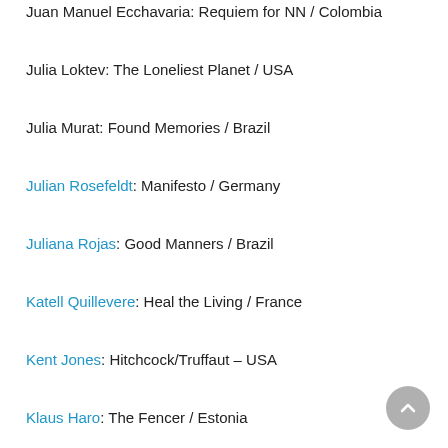Juan Manuel Ecchavaria: Requiem for NN / Colombia
Julia Loktev: The Loneliest Planet / USA
Julia Murat: Found Memories / Brazil
Julian Rosefeldt: Manifesto / Germany
Juliana Rojas: Good Manners / Brazil
Katell Quillevere: Heal the Living / France
Kent Jones: Hitchcock/Truffaut – USA
Klaus Haro: The Fencer / Estonia